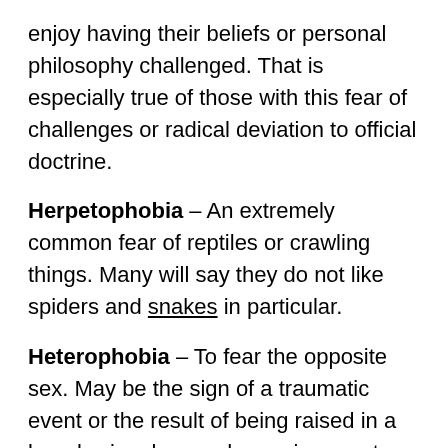enjoy having their beliefs or personal philosophy challenged. That is especially true of those with this fear of challenges or radical deviation to official doctrine.
Herpetophobia – An extremely common fear of reptiles or crawling things. Many will say they do not like spiders and snakes in particular.
Heterophobia – To fear the opposite sex. May be the sign of a traumatic event or the result of being raised in a largely singular-gender environment. (Sexophobia)
Hexakosioihexekontahexaphobia – This fear of the number 666 originates from the Bible, where it is